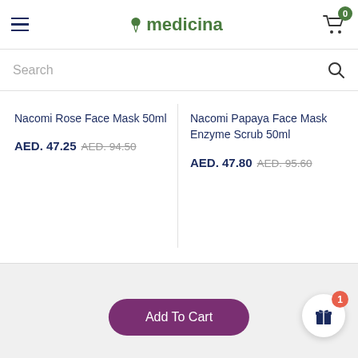medicina — header with hamburger menu, logo, and cart (0)
Search
Nacomi Rose Face Mask 50ml
AED. 47.25  AED. 94.50
Nacomi Papaya Face Mask Enzyme Scrub 50ml
AED. 47.80  AED. 95.60
Add To Cart